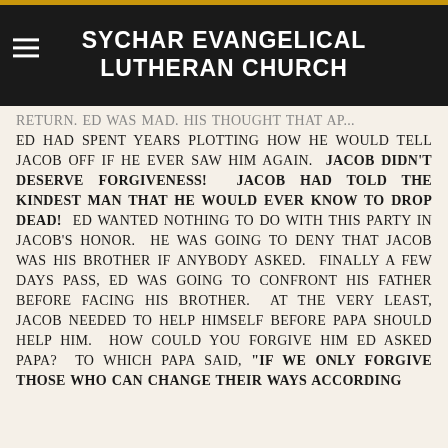SYCHAR EVANGELICAL LUTHERAN CHURCH
ED HAD SPENT YEARS PLOTTING HOW HE WOULD TELL JACOB OFF IF HE EVER SAW HIM AGAIN. JACOB DIDN'T DESERVE FORGIVENESS! JACOB HAD TOLD THE KINDEST MAN THAT HE WOULD EVER KNOW TO DROP DEAD! ED WANTED NOTHING TO DO WITH THIS PARTY IN JACOB'S HONOR. HE WAS GOING TO DENY THAT JACOB WAS HIS BROTHER IF ANYBODY ASKED. FINALLY A FEW DAYS PASS, ED WAS GOING TO CONFRONT HIS FATHER BEFORE FACING HIS BROTHER. AT THE VERY LEAST, JACOB NEEDED TO HELP HIMSELF BEFORE PAPA SHOULD HELP HIM. HOW COULD YOU FORGIVE HIM ED ASKED PAPA? TO WHICH PAPA SAID, "IF WE ONLY FORGIVE THOSE WHO CAN CHANGE THEIR WAYS ACCORDING